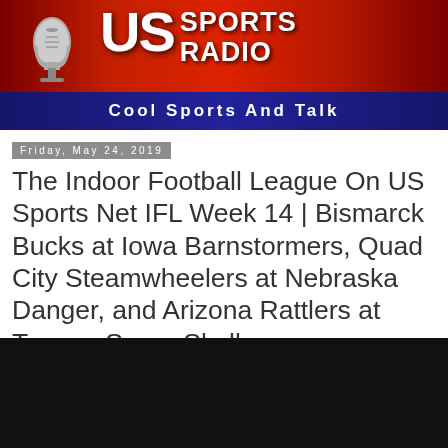[Figure (logo): US Sports Radio banner logo with microphone graphic on red background and blue bar reading 'Cool Sports And Talk']
Friday, May 24, 2019
The Indoor Football League On US Sports Net IFL Week 14 | Bismarck Bucks at Iowa Barnstormers, Quad City Steamwheelers at Nebraska Danger, and Arizona Rattlers at Tucson Sugar Skulls
click on the menu bar for all of this week's live IFL broadcasts
[Figure (other): Dark/black video player placeholder area]